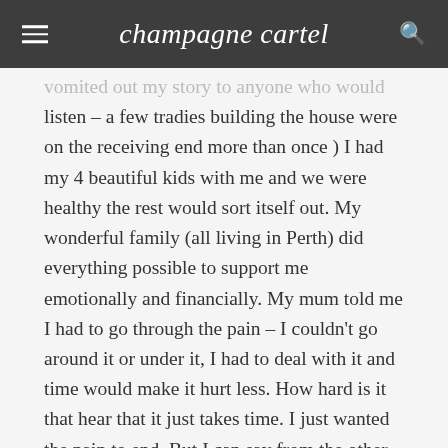champagne cartel
vomited out my story to anyone who would listen – a few tradies building the house were on the receiving end more than once ) I had my 4 beautiful kids with me and we were healthy the rest would sort itself out. My wonderful family (all living in Perth) did everything possible to support me emotionally and financially. My mum told me I had to go through the pain – I couldn't go around it or under it, I had to deal with it and time would make it hurt less. How hard is it that hear that it just takes time. I just wanted the pain to end. But I can say from the other side it's true and the whole experience was a blessing in a very bad and painful disguise. I LOVE the person I am, my children tell me regularly how proud they are